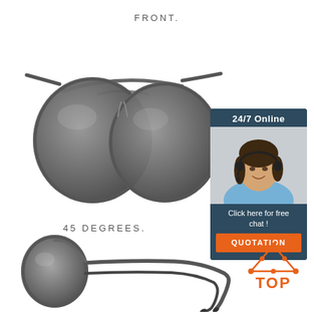FRONT.
[Figure (photo): Front view of aviator-style sunglasses with dark grey gradient lenses and gunmetal frame]
45 DEGREES.
[Figure (infographic): Customer service chat widget with '24/7 Online' header, photo of smiling woman with headset, 'Click here for free chat!' text, and orange QUOTATION button]
[Figure (photo): Side view of aviator sunglasses showing profile with gunmetal frame and dark lenses]
[Figure (logo): TOP badge with orange triangle/arrow icon and orange text reading TOP]